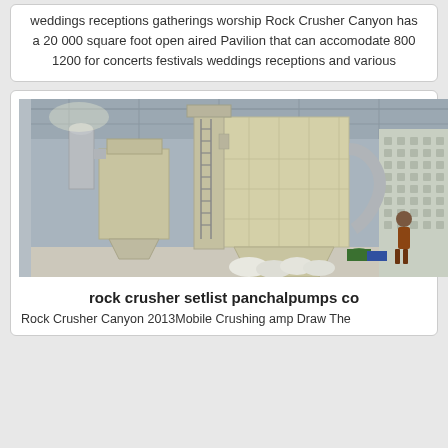weddings receptions gatherings worship Rock Crusher Canyon has a 20 000 square foot open aired Pavilion that can accomodate 800 1200 for concerts festivals weddings receptions and various
[Figure (photo): Industrial machinery inside a large warehouse — a large cream/beige colored dust collector or industrial filtration system with hopper, cyclone separator, and connecting pipes. A person is visible in the background near the right side.]
rock crusher setlist panchalpumps co
Rock Crusher Canyon 2013Mobile Crushing amp Draw The